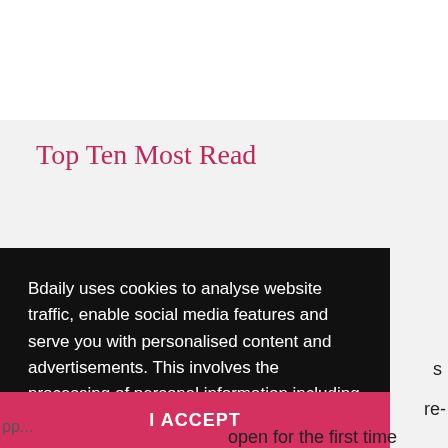Top Ten Most Read
Bdaily uses cookies to analyse website traffic, enable social media features and serve you with personalised content and advertisements. This involves the processing of personal information including your IP address and browsing behaviour. For more information, please see our Cookies Policy
I ACCEPT